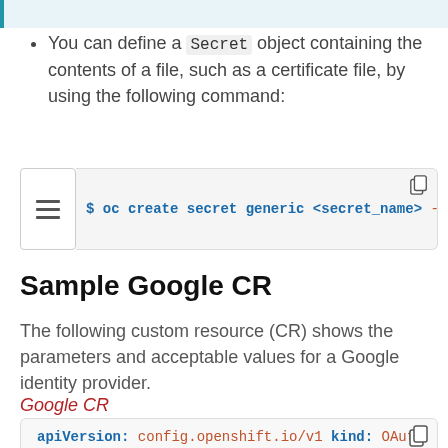You can define a Secret object containing the contents of a file, such as a certificate file, by using the following command:
[Figure (screenshot): Code block showing terminal command: $ oc create secret generic <secret_name> --f]
Sample Google CR
The following custom resource (CR) shows the parameters and acceptable values for a Google identity provider.
Google CR
[Figure (screenshot): Code block showing YAML: apiVersion: config.openshift.io/v1
kind: OAuth]